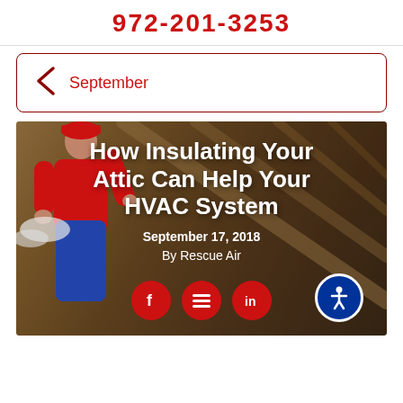972-201-3253
September
[Figure (photo): Hero image of a worker in red uniform insulating an attic, with rafters visible. Overlaid with article title 'How Insulating Your Attic Can Help Your HVAC System', date 'September 17, 2018', author 'By Rescue Air', and social media icons for Facebook, menu/share, LinkedIn, and an accessibility button.]
How Insulating Your Attic Can Help Your HVAC System
September 17, 2018
By Rescue Air